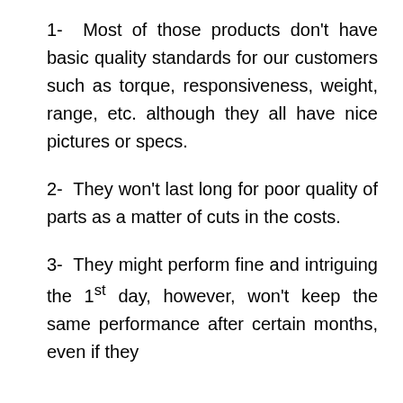1- Most of those products don't have basic quality standards for our customers such as torque, responsiveness, weight, range, etc. although they all have nice pictures or specs.
2- They won't last long for poor quality of parts as a matter of cuts in the costs.
3- They might perform fine and intriguing the 1st day, however, won't keep the same performance after certain months, even if they